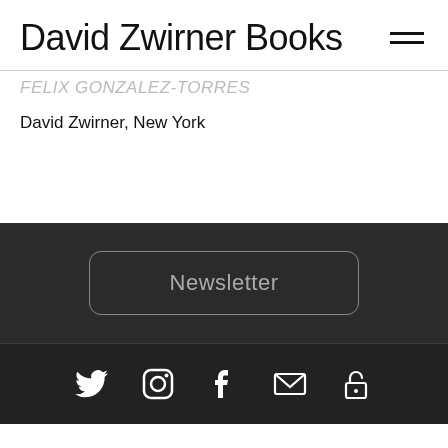David Zwirner Books
FELIX GONZALEZ-TORRES
David Zwirner, New York
Newsletter
[Figure (infographic): Social media icons row: Twitter, Instagram, Facebook, Mail, Unlock/padlock — white icons on dark background]